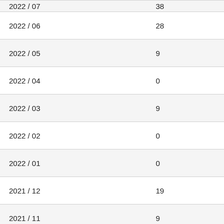| 2022 / 07 | 38 |
| 2022 / 06 | 28 |
| 2022 / 05 | 9 |
| 2022 / 04 | 0 |
| 2022 / 03 | 9 |
| 2022 / 02 | 0 |
| 2022 / 01 | 0 |
| 2021 / 12 | 19 |
| 2021 / 11 | 9 |
| 2021 / 10 | 9 |
| 2021 / 09 | 0 |
| 2021 / 08 | 0 |